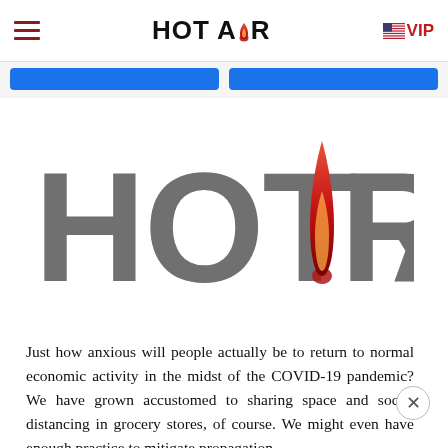HOT AiR  VIP
[Figure (logo): Large HOT AiR logo in gray with a red/orange flame replacing the dot of the letter i]
Just how anxious will people actually be to return to normal economic activity in the midst of the COVID-19 pandemic? We have grown accustomed to sharing space and social distancing in grocery stores, of course. We might even have enough practice to mitigate propagation